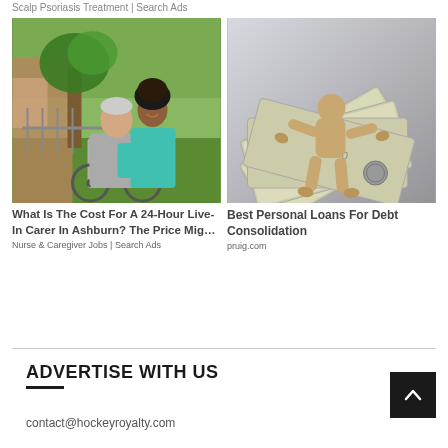Scalp Psoriasis Treatment | Search Ads
[Figure (photo): Elderly man in wheelchair with nurse caregiver outdoors]
What Is The Cost For A 24-Hour Live-In Carer In Ashburn? The Price Mig…
Nurse & Caregiver Jobs | Search Ads
[Figure (photo): Wooden mannequin lying on Japanese yen banknotes]
Best Personal Loans For Debt Consolidation
pruig.com
ADVERTISE WITH US
contact@hockeyroyalty.com